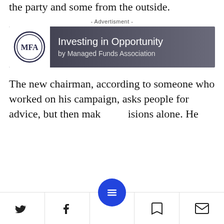the party and some from the outside.
- Advertisment -
[Figure (other): Advertisement banner for 'Investing in Opportunity by Managed Funds Association' with MFA logo on dark gradient background]
The new chairman, according to someone who worked on his campaign, asks people for advice, but then make decisions alone. He
Social toolbar with Twitter, Facebook, menu FAB, bookmark, and mail icons